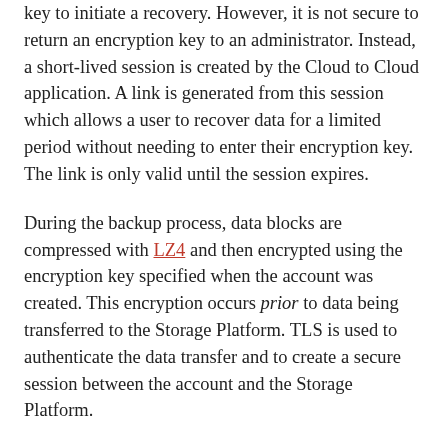key to initiate a recovery. However, it is not secure to return an encryption key to an administrator. Instead, a short-lived session is created by the Cloud to Cloud application. A link is generated from this session which allows a user to recover data for a limited period without needing to enter their encryption key. The link is only valid until the session expires.
During the backup process, data blocks are compressed with LZ4 and then encrypted using the encryption key specified when the account was created. This encryption occurs prior to data being transferred to the Storage Platform. TLS is used to authenticate the data transfer and to create a secure session between the account and the Storage Platform.
We use a symmetric-key cryptographic block cipher, 256-bit Advanced Encryption Standard (AES) in Galois Counter Mode (GCM) or AES-GCM to ensure authenticated encryption, guaranteeing the integrity of your data. Through